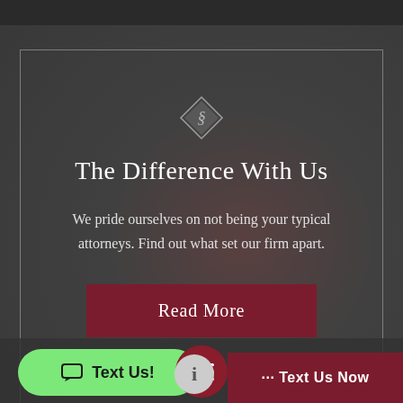[Figure (screenshot): Law firm website screenshot showing dark background with blurred hand/pen image]
The Difference With Us
We pride ourselves on not being your typical attorneys. Find out what set our firm apart.
Read More
Text Us!
··· Text Us Now